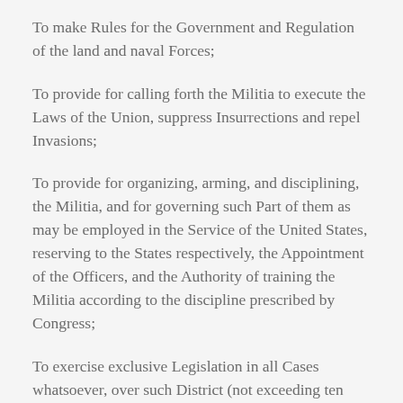To make Rules for the Government and Regulation of the land and naval Forces;
To provide for calling forth the Militia to execute the Laws of the Union, suppress Insurrections and repel Invasions;
To provide for organizing, arming, and disciplining, the Militia, and for governing such Part of them as may be employed in the Service of the United States, reserving to the States respectively, the Appointment of the Officers, and the Authority of training the Militia according to the discipline prescribed by Congress;
To exercise exclusive Legislation in all Cases whatsoever, over such District (not exceeding ten Miles square) as may, by Cession of particular States, and the Acceptance of Congress, become the Seat of the Government of the United States, and to exercise like Authority over all Places purchased by the Consent of the Legislature of the State in which the Same shall be, for the Erection of Forts,